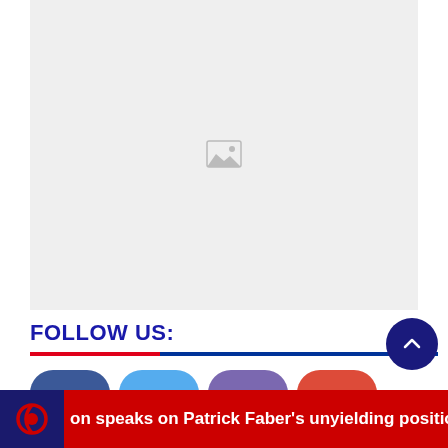[Figure (photo): Placeholder image with broken image icon on light gray background]
FOLLOW US:
[Figure (infographic): Social media icon buttons: Facebook (blue), Twitter (light blue), another social (purple), Google+ (red)]
on speaks on Patrick Faber's unyielding position on socia